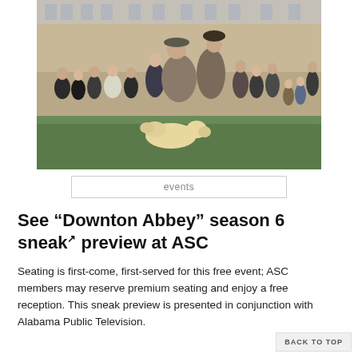[Figure (photo): Group photo of the cast of Downton Abbey standing in front of a manor house, with a yellow Labrador dog lying in the foreground on grass.]
events
See “Downton Abbey” season 6 sneak preview at ASC
Seating is first-come, first-served for this free event; ASC members may reserve premium seating and enjoy a free reception. This sneak preview is presented in conjunction with Alabama Public Television.